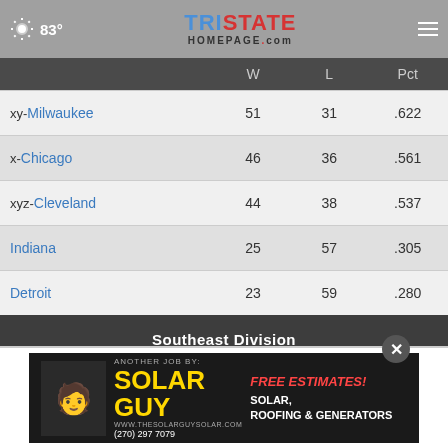83° TriState Homepage.com
|  | W | L | Pct |
| --- | --- | --- | --- |
| xy-Milwaukee | 51 | 31 | .622 |
| x-Chicago | 46 | 36 | .561 |
| xyz-Cleveland | 44 | 38 | .537 |
| Indiana | 25 | 57 | .305 |
| Detroit | 23 | 59 | .280 |
Southeast Division
|  | W | L | Pct |
| --- | --- | --- | --- |
| xyz-Miami |  |  |  |
| x-Atlanta |  |  |  |
[Figure (other): Advertisement banner for Solar Guy - Solar, Roofing & Generators. Free Estimates! (270) 297-7079]